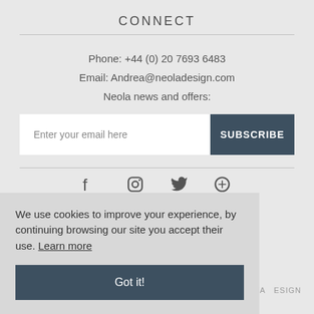CONNECT
Phone: +44 (0) 20 7693 6483
Email: Andrea@neoladesign.com
Neola news and offers:
[Figure (other): Email subscribe input field with text 'Enter your email here' and a dark blue SUBSCRIBE button]
[Figure (other): Social media icons: Facebook, Instagram, Twitter, Pinterest]
We use cookies to improve your experience, by continuing browsing our site you accept their use. Learn more
Got it!
COPYRIGHT © 2022 NEOLA DESIGN